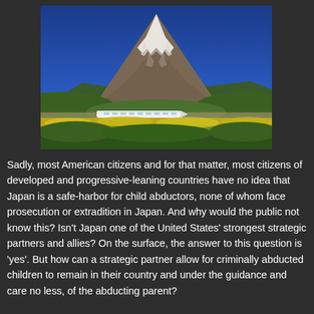[Figure (photo): Photo of Mount Fuji with snow-capped peak against a blue sky, a bullet train (Shinkansen) passing in the foreground along tracks, with yellow flowering fields in the foreground.]
Sadly, most American citizens and for that matter, most citizens of developed and progressive-leaning countries have no idea that Japan is a safe-harbor for child abductors, none of whom face prosecution or extradition in Japan. And why would the public not know this? Isn't Japan one of the United States' strongest strategic partners and allies? On the surface, the answer to this question is 'yes'. But how can a strategic partner allow for criminally abducted children to remain in their country and under the guidance and care no less, of the abducting parent?